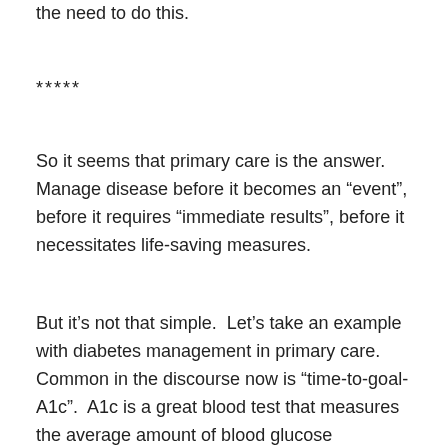the need to do this.
*****
So it seems that primary care is the answer.  Manage disease before it becomes an “event”, before it requires “immediate results”, before it necessitates life-saving measures.
But it’s not that simple.  Let’s take an example with diabetes management in primary care.  Common in the discourse now is “time-to-goal-A1c”.  A1c is a great blood test that measures the average amount of blood glucose